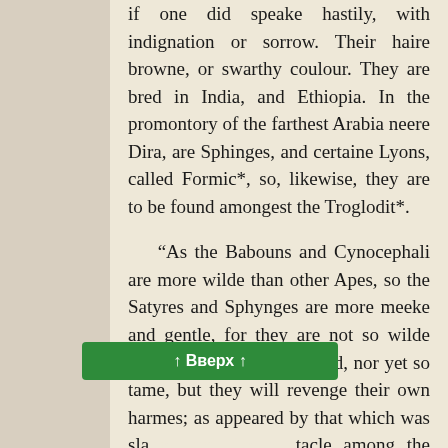if one did speake hastily, with indignation or sorrow. Their haire browne, or swarthy coulour. They are bred in India, and Ethiopia. In the promontory of the farthest Arabia neere Dira, are Sphinges, and certaine Lyons, called Formic*, so, likewise, they are to be found amongest the Troglodit*.
“As the Babouns and Cynocephali are more wilde than other Apes, so the Satyres and Sphynges are more meeke and gentle, for they are not so wilde that they will not bee tamed, nor yet so tame, but they will revenge their own harmes; as appeared by that which was sla[ine, and like a s]tacle among the Theba[ns, which laid up their] meat in the store houses of their own chaps or